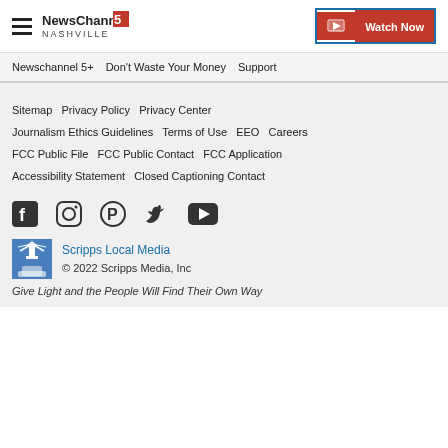NewsChannel 5 Nashville | Watch Now
Newschannel 5+ | Don't Waste Your Money | Support
Sitemap | Privacy Policy | Privacy Center | Journalism Ethics Guidelines | Terms of Use | EEO | Careers | FCC Public File | FCC Public Contact | FCC Application | Accessibility Statement | Closed Captioning Contact
[Figure (infographic): Social media icons: Facebook, Instagram, Pinterest, Twitter, YouTube]
Scripps Local Media
© 2022 Scripps Media, Inc
Give Light and the People Will Find Their Own Way